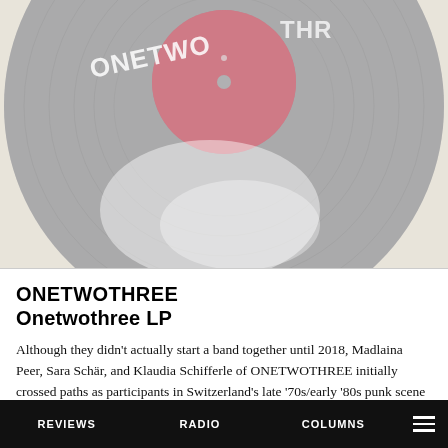[Figure (illustration): Vinyl record album artwork for ONETWOTHREE LP. The record is gray/dark with a pink/red label in the center. White text 'ONETWOTHREE' is visible on the upper left of the record. The lower portion of the record has a lighter dusty white area. The background is a cream/off-white color.]
ONETWOTHREE
Onetwothree LP
Although they didn't actually start a band together until 2018, Madlaina Peer, Sara Schär, and Klaudia Schifferle of ONETWOTHREE initially crossed paths as participants in Switzerland's late '70s/early '80s punk scene—Klaudia played bass in KLEENEX/LILIPUT, Sara fronted TNT as a teenager and later joined the
REVIEWS   RADIO   COLUMNS   ☰